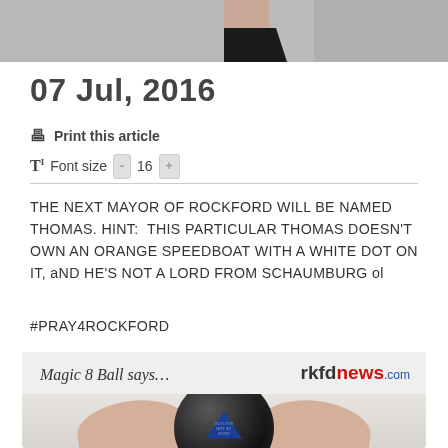[Figure (photo): Partial upper body photo showing neck and dark collar/clothing at top of page]
07 Jul, 2016
Print this article
Font size - 16 +
THE NEXT MAYOR OF ROCKFORD WILL BE NAMED THOMAS. HINT: THIS PARTICULAR THOMAS DOESN'T OWN AN ORANGE SPEEDBOAT WITH A WHITE DOT ON IT, aND HE'S NOT A LORD FROM SCHAUMBURG ol
#PRAY4ROCKFORD
[Figure (photo): Magic 8 Ball image with hands holding a black 8-ball showing blue triangle window. Text overlay reads 'Magic 8 Ball says...' and rkfdnews.com logo]